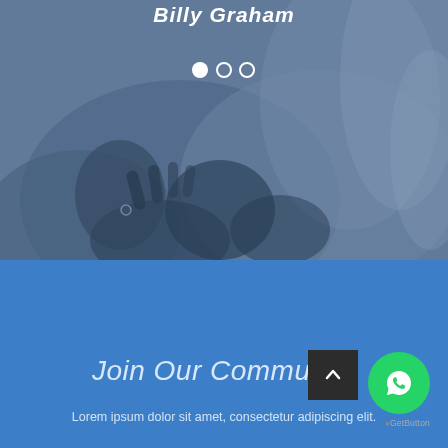[Figure (photo): Hero image showing hands (prayer/healing scene) with blue-grey overlay. Text 'Billy Graham' in italic bold white at top center. Three slider navigation dots below the title.]
Join Our Community
Lorem ipsum dolor sit amet, consectetur adipiscing elit.